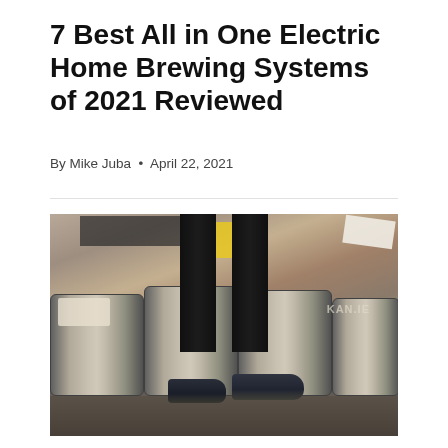7 Best All in One Electric Home Brewing Systems of 2021 Reviewed
By Mike Juba  •  April 22, 2021
[Figure (photo): A person standing in black jeans and dark sneakers in front of a row of metal beer kegs, with a graffiti-covered wall visible in the background including text 'KAN.IE' and various posters and flyers.]